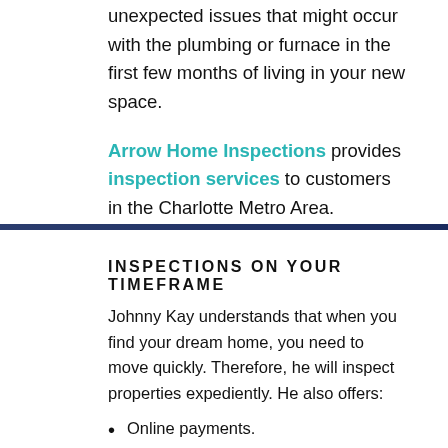unexpected issues that might occur with the plumbing or furnace in the first few months of living in your new space.
Arrow Home Inspections provides inspection services to customers in the Charlotte Metro Area. Contact us to request an appointment.
INSPECTIONS ON YOUR TIMEFRAME
Johnny Kay understands that when you find your dream home, you need to move quickly. Therefore, he will inspect properties expediently. He also offers:
Online payments.
You're encouraged (but not required) to attend